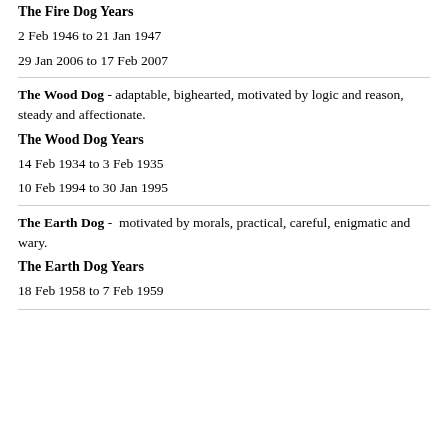The Fire Dog Years
2 Feb 1946 to 21 Jan 1947
29 Jan 2006 to 17 Feb 2007
The Wood Dog - adaptable, bighearted, motivated by logic and reason, steady and affectionate.
The Wood Dog Years
14 Feb 1934 to 3 Feb 1935
10 Feb 1994 to 30 Jan 1995
The Earth Dog -  motivated by morals, practical, careful, enigmatic and wary.
The Earth Dog Years
18 Feb 1958 to 7 Feb 1959